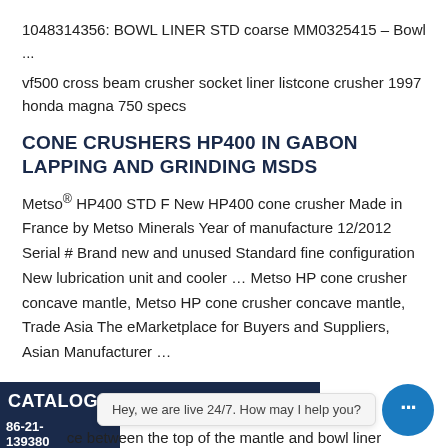1048314356: BOWL LINER STD coarse MM0325415 – Bowl ...
vf500 cross beam crusher socket liner listcone crusher 1997 honda magna 750 specs
CONE CRUSHERS HP400 IN GABON LAPPING AND GRINDING MSDS
Metso® HP400 STD F New HP400 cone crusher Made in France by Metso Minerals Year of manufacture 12/2012 Serial # Brand new and unused Standard fine configuration New lubrication unit and cooler … Metso HP cone crusher concave mantle, Metso HP cone crusher concave mantle, Trade Asia The eMarketplace for Buyers and Suppliers, Asian Manufacturer …
CATALOGO-HP.--- 86-21- 139380
Hey, we are live 24/7. How may I help you?
ce between the top of the mantle and bowl liner